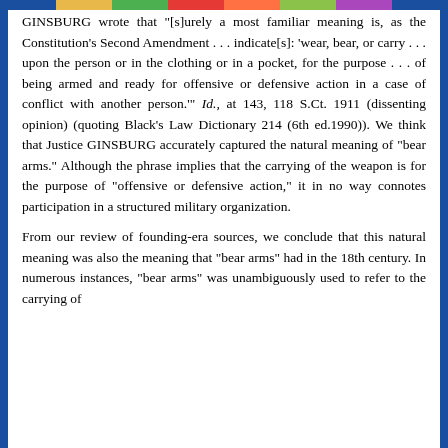GINSBURG wrote that "[s]urely a most familiar meaning is, as the Constitution's Second Amendment . . . indicate[s]: 'wear, bear, or carry . . . upon the person or in the clothing or in a pocket, for the purpose . . . of being armed and ready for offensive or defensive action in a case of conflict with another person.'" Id., at 143, 118 S.Ct. 1911 (dissenting opinion) (quoting Black's Law Dictionary 214 (6th ed.1990)). We think that Justice GINSBURG accurately captured the natural meaning of "bear arms." Although the phrase implies that the carrying of the weapon is for the purpose of "offensive or defensive action," it in no way connotes participation in a structured military organization.
From our review of founding-era sources, we conclude that this natural meaning was also the meaning that "bear arms" had in the 18th century. In numerous instances, "bear arms" was unambiguously used to refer to the carrying of weapons outside of any organized militia. The